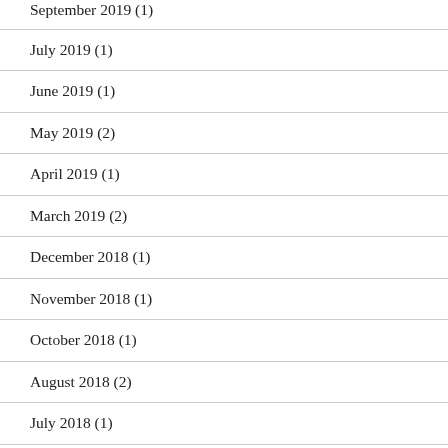September 2019 (1)
July 2019 (1)
June 2019 (1)
May 2019 (2)
April 2019 (1)
March 2019 (2)
December 2018 (1)
November 2018 (1)
October 2018 (1)
August 2018 (2)
July 2018 (1)
May 2018 (1)